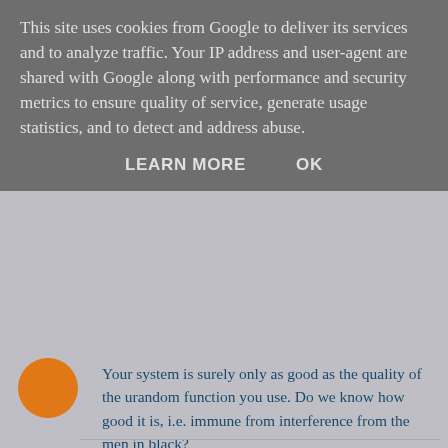This site uses cookies from Google to deliver its services and to analyze traffic. Your IP address and user-agent are shared with Google along with performance and security metrics to ensure quality of service, generate usage statistics, and to detect and address abuse.
LEARN MORE    OK
Your system is surely only as good as the quality of the urandom function you use. Do we know how good it is, i.e. immune from interference from the men in black?
Reply
▾ Replies
RevK  Thursday, 15 January 2015 at 19:32:00 GMT
Well, I would use a TRNG but it seems ill at the moment, however, back to basics, use a pair of dice, and no computer is involved. I do say this in the blog!